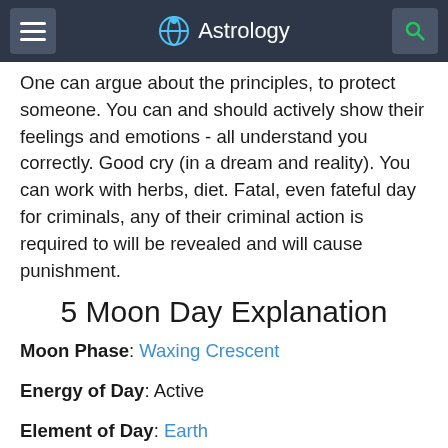Astrology
One can argue about the principles, to protect someone. You can and should actively show their feelings and emotions - all understand you correctly. Good cry (in a dream and reality). You can work with herbs, diet. Fatal, even fateful day for criminals, any of their criminal action is required to will be revealed and will cause punishment.
5 Moon Day Explanation
Moon Phase: Waxing Crescent
Energy of Day: Active
Element of Day: Earth
Symbol of Day: Unicorn
Lucky Number: 5
Day of duty and defending of principles, beliefs and ideals